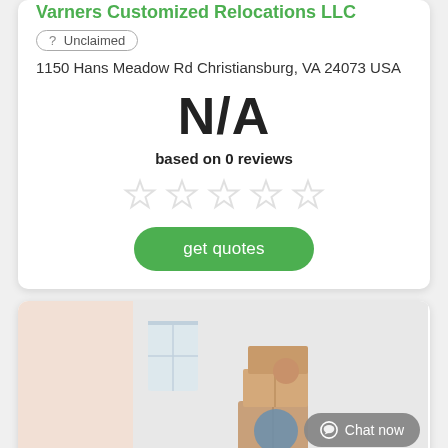Varners Customized Relocations LLC
? Unclaimed
1150 Hans Meadow Rd Christiansburg, VA 24073 USA
N/A
based on 0 reviews
[Figure (other): Five empty/outline star rating icons in a row, greyed out]
get quotes
[Figure (photo): A man carrying a large stack of cardboard moving boxes in a bright room. A Chat now button overlay is visible in the bottom right corner.]